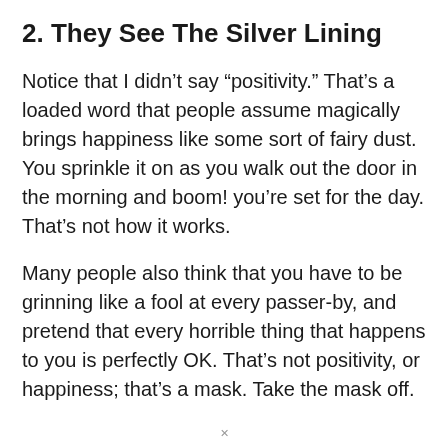2. They See The Silver Lining
Notice that I didn't say “positivity.” That’s a loaded word that people assume magically brings happiness like some sort of fairy dust. You sprinkle it on as you walk out the door in the morning and boom! you’re set for the day. That’s not how it works.
Many people also think that you have to be grinning like a fool at every passer-by, and pretend that every horrible thing that happens to you is perfectly OK. That’s not positivity, or happiness; that’s a mask. Take the mask off.